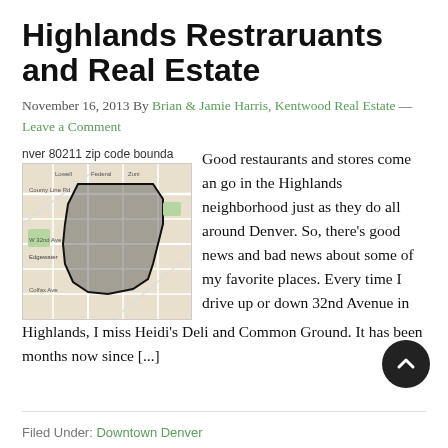Highlands Restraruants and Real Estate
November 16, 2013 By Brian & Jamie Harris, Kentwood Real Estate — Leave a Comment
nver 80211 zip code bounda
[Figure (map): Map showing Denver 80211 zip code boundary with highlighted area in the Highlands neighborhood]
Good restaurants and stores come an go in the Highlands neighborhood just as they do all around Denver. So, there's good news and bad news about some of my favorite places. Every time I drive up or down 32nd Avenue in Highlands, I miss Heidi's Deli and Common Ground. It has been months now since [...]
Filed Under: Downtown Denver